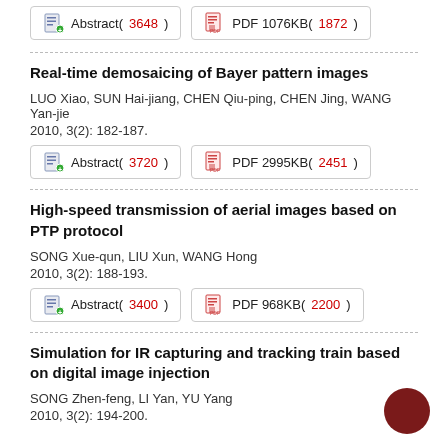Abstract(3648)  PDF 1076KB(1872)
Real-time demosaicing of Bayer pattern images
LUO Xiao, SUN Hai-jiang, CHEN Qiu-ping, CHEN Jing, WANG Yan-jie
2010, 3(2): 182-187.
Abstract(3720)  PDF 2995KB(2451)
High-speed transmission of aerial images based on PTP protocol
SONG Xue-qun, LIU Xun, WANG Hong
2010, 3(2): 188-193.
Abstract(3400)  PDF 968KB(2200)
Simulation for IR capturing and tracking train based on digital image injection
SONG Zhen-feng, LI Yan, YU Yang
2010, 3(2): 194-200.